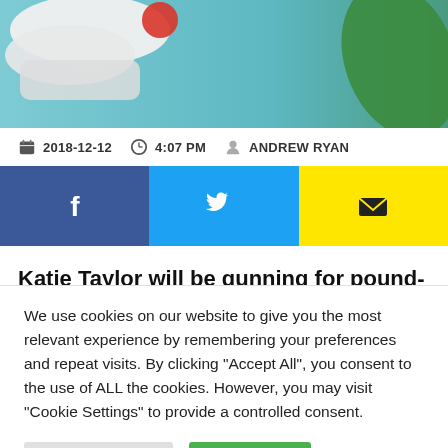[Figure (photo): Partial view of a colorful image (appears to be an illustration or game screenshot with blue/teal background and colored objects)]
2018-12-12   4:07 PM   ANDREW RYAN
[Figure (infographic): Social sharing buttons: Facebook (blue), Twitter (cyan), Email (yellow)]
Katie Taylor will be gunning for pound-for-pound lightweight dominance in 2019, with superfights against Amanda Serrano and Cecilia Braekhus being lined up for the new
We use cookies on our website to give you the most relevant experience by remembering your preferences and repeat visits. By clicking "Accept All", you consent to the use of ALL the cookies. However, you may visit "Cookie Settings" to provide a controlled consent.